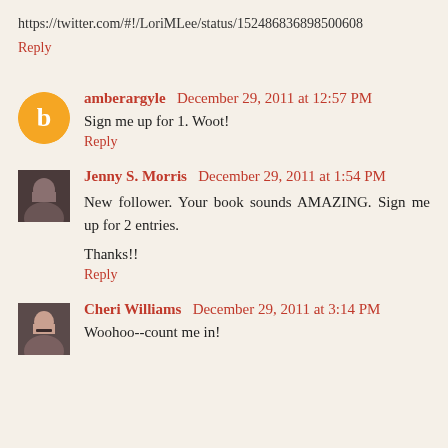https://twitter.com/#!/LoriMLee/status/152486836898500608
Reply
amberargyle  December 29, 2011 at 12:57 PM
Sign me up for 1. Woot!
Reply
Jenny S. Morris  December 29, 2011 at 1:54 PM
New follower. Your book sounds AMAZING. Sign me up for 2 entries.
Thanks!!
Reply
Cheri Williams  December 29, 2011 at 3:14 PM
Woohoo--count me in!